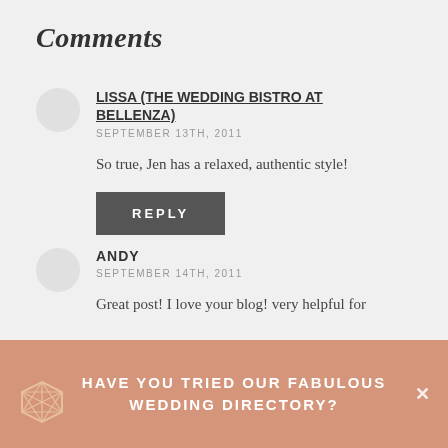Comments
LISSA (THE WEDDING BISTRO AT BELLENZA)
SEPTEMBER 13TH, 2011
So true, Jen has a relaxed, authentic style!
REPLY
ANDY
SEPTEMBER 14TH, 2011
Great post! I love your blog! very helpful for
HAVE YOU TRIED OUR FABULOUS WEDDING DIRECTORY?